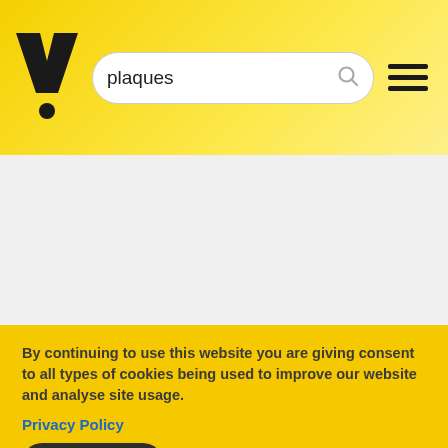[Figure (logo): Yellow background header with a bold black 'V' with dot logo (exclamation mark style), a search bar containing the text 'plaques' with a search icon, and a hamburger menu icon on the right.]
By continuing to use this website you are giving consent to all types of cookies being used to improve our website and analyse site usage.
Privacy Policy
Accept